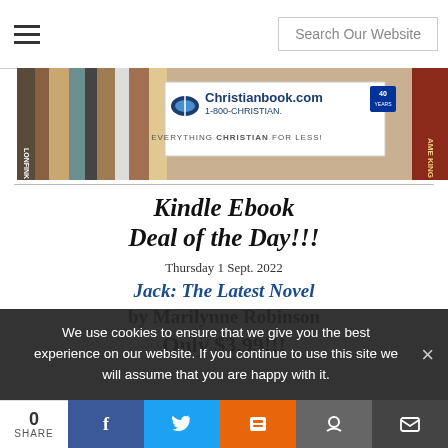Search Our Website
[Figure (photo): Christianbook.com banner advertisement showing book spines and logo with text '1-800-CHRISTIAN. EVERYTHING CHRISTIAN FOR LESS!' and '40 YEARS' badge]
Kindle Ebook Deal of the Day!!!
Thursday 1 Sept. 2022
Jack: The Latest Novel
by Marilynne Robinson
Only $3.99!!!
We use cookies to ensure that we give you the best experience on our website. If you continue to use this site we will assume that you are happy with it.
0 SHARE | Facebook | Twitter | Mix | Reddit | Email